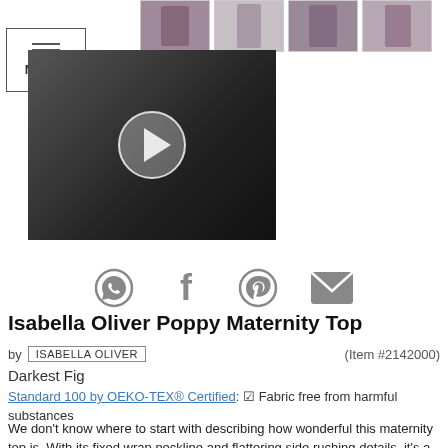[Figure (screenshot): Product thumbnail images strip at top of page showing 4 small product photos]
[Figure (screenshot): Navigation menu button with hamburger icon and MENU label]
[Figure (screenshot): Video thumbnail with play button overlay showing a living room scene]
[Figure (illustration): Social sharing icons row: WhatsApp, Facebook, Pinterest, Email]
Isabella Oliver Poppy Maternity Top
by ISABELLA OLIVER (Item #2142000)
Darkest Fig
Standard 100 by OEKO-TEX® Certified: ✓ Fabric free from harmful substances
We don't know where to start with describing how wonderful this maternity top is. With its fixed wrap neckline and flattering side ruching details, it's a style deserving of the title 'hero'. Prepare to have on